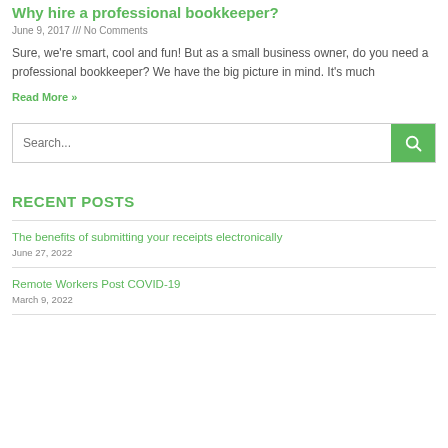Why hire a professional bookkeeper?
June 9, 2017 /// No Comments
Sure, we're smart, cool and fun! But as a small business owner, do you need a professional bookkeeper? We have the big picture in mind. It's much
Read More »
[Figure (other): Search input box with green search button containing magnifying glass icon]
RECENT POSTS
The benefits of submitting your receipts electronically
June 27, 2022
Remote Workers Post COVID-19
March 9, 2022